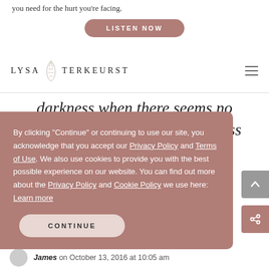you need for the hurt you're facing.
[Figure (other): LISTEN NOW button — rounded rectangle, mauve/dusty rose color]
[Figure (logo): Lysa TerKeurst logo with decorative leaf/wheat illustration and hamburger menu icon]
darkness when there seems no hope, there is light and goodness
By clicking "Continue" or continuing to use our site, you acknowledge that you accept our Privacy Policy and Terms of Use. We also use cookies to provide you with the best possible experience on our website. You can find out more about the Privacy Policy and Cookie Policy we use here: Learn more
[Figure (other): CONTINUE button — rounded rectangle, light mauve/blush color]
James on October 13, 2016 at 10:05 am